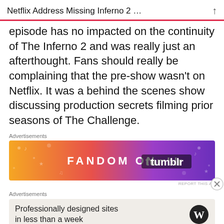Netflix Address Missing Inferno 2 …
episode has no impacted on the continuity of The Inferno 2 and was really just an afterthought. Fans should really be complaining that the pre-show wasn't on Netflix. It was a behind the scenes show discussing production secrets filming prior seasons of The Challenge.
Advertisements
[Figure (other): Fandom on Tumblr advertisement banner with orange-to-purple gradient and decorative music/star icons]
Advertisements
[Figure (other): WordPress advertisement: Professionally designed sites in less than a week, with WordPress logo]